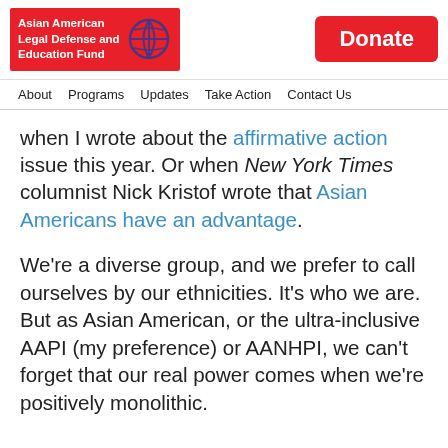[Figure (logo): Asian American Legal Defense and Education Fund logo — red rectangle with white bold text and purple globe icon]
[Figure (other): Red Donate button in top right corner]
About   Programs   Updates   Take Action   Contact Us
when I wrote about the affirmative action issue this year. Or when New York Times columnist Nick Kristof wrote that Asian Americans have an advantage.
We're a diverse group, and we prefer to call ourselves by our ethnicities. It's who we are. But as Asian American, or the ultra-inclusive AAPI (my preference) or AANHPI, we can't forget that our real power comes when we're positively monolithic.